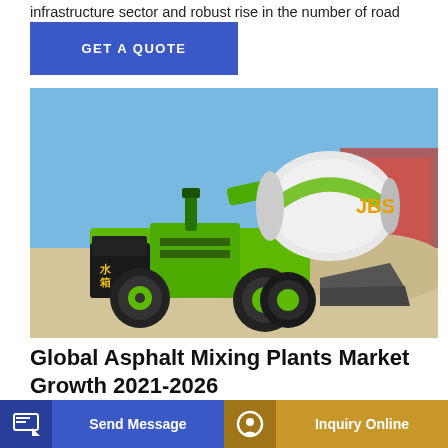infrastructure sector and robust rise in the number of road
[Figure (other): Blue button with text GET A QUOTE on white background]
[Figure (photo): A green self-loading concrete mixer truck parked on a sandy construction site with blue sky, industrial buildings in background]
Global Asphalt Mixing Plants Market Growth 2021-2026
...most conservative estimates... Asphalt Mixing ...ely out... year revenue growth rate of XX% in 2021, from US$ 1743.6
[Figure (other): Send Message button bar at bottom left (blue)]
[Figure (other): Inquiry Online button bar at bottom right (gold/yellow)]